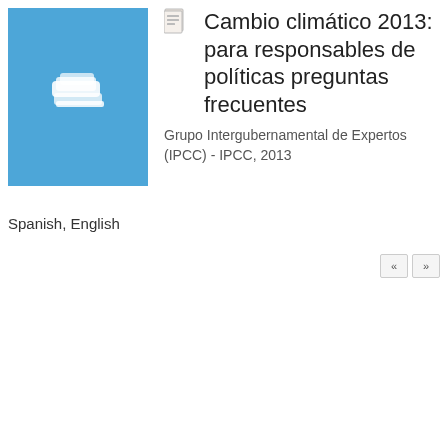[Figure (illustration): Blue book cover thumbnail with white stacked pages/documents icon]
Cambio climático 2013: para responsables de políticas preguntas frecuentes
Grupo Intergubernamental de Expertos (IPCC) - IPCC, 2013
Spanish, English